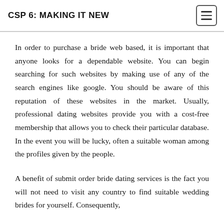CSP 6: MAKING IT NEW
In order to purchase a bride web based, it is important that anyone looks for a dependable website. You can begin searching for such websites by making use of any of the search engines like google. You should be aware of this reputation of these websites in the market. Usually, professional dating websites provide you with a cost-free membership that allows you to check their particular database. In the event you will be lucky, often a suitable woman among the profiles given by the people.
A benefit of submit order bride dating services is the fact you will not need to visit any country to find suitable wedding brides for yourself. Consequently,